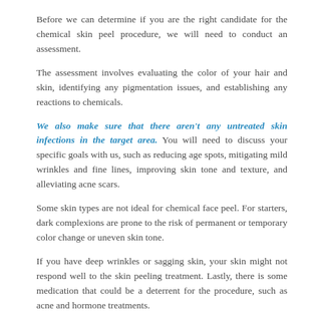Before we can determine if you are the right candidate for the chemical skin peel procedure, we will need to conduct an assessment.
The assessment involves evaluating the color of your hair and skin, identifying any pigmentation issues, and establishing any reactions to chemicals.
We also make sure that there aren't any untreated skin infections in the target area. You will need to discuss your specific goals with us, such as reducing age spots, mitigating mild wrinkles and fine lines, improving skin tone and texture, and alleviating acne scars.
Some skin types are not ideal for chemical face peel. For starters, dark complexions are prone to the risk of permanent or temporary color change or uneven skin tone.
If you have deep wrinkles or sagging skin, your skin might not respond well to the skin peeling treatment. Lastly, there is some medication that could be a deterrent for the procedure, such as acne and hormone treatments.
WHAT DOES THE AVERAGE